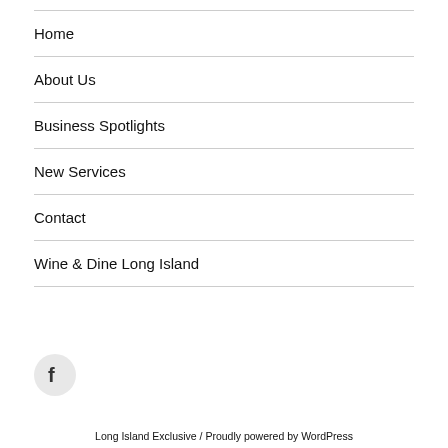Home
About Us
Business Spotlights
New Services
Contact
Wine & Dine Long Island
[Figure (logo): Facebook icon in a rounded square shape]
Long Island Exclusive / Proudly powered by WordPress